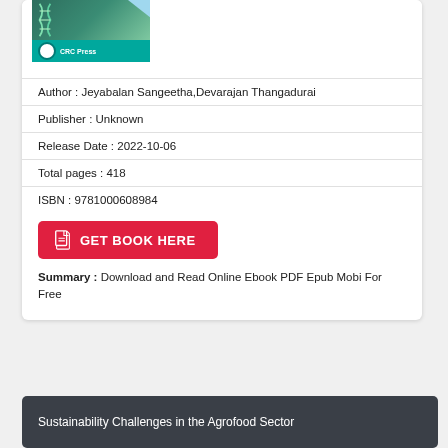[Figure (illustration): Book cover thumbnail with teal/green DNA graphic and CRC Press banner with fold/ribbon element]
Author : Jeyabalan Sangeetha,Devarajan Thangadurai
Publisher : Unknown
Release Date : 2022-10-06
Total pages : 418
ISBN : 9781000608984
GET BOOK HERE
Summary : Download and Read Online Ebook PDF Epub Mobi For Free
Sustainability Challenges in the Agrofood Sector